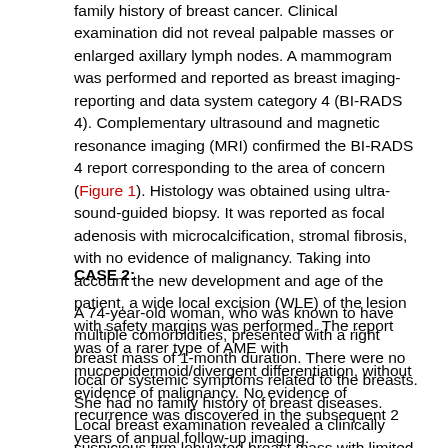family history of breast cancer. Clinical examination did not reveal palpable masses or enlarged axillary lymph nodes. A mammogram was performed and reported as breast imaging-reporting and data system category 4 (BI-RADS 4). Complementary ultrasound and magnetic resonance imaging (MRI) confirmed the BI-RADS 4 report corresponding to the area of concern (Figure 1). Histology was obtained using ultra-sound-guided biopsy. It was reported as focal adenosis with microcalcification, stromal fibrosis, with no evidence of malignancy. Taking into account the new development and age of the patient, a wide local excision (WLE) of the lesion with safety margins was performed. The report was of a rarer type of AME with mucoepidermoid/divergent differentiation, without evidence of malignancy. No evidence of recurrence was discovered in the subsequent 2 years of annual follow-up imaging.
CASE 2:
A 74-year-old woman, who was known to have multiple comorbidities, presented with a right breast mass of 1-month duration. There were no local or systemic symptoms related to the breasts. She had no family history of breast diseases. Local breast examination revealed a clinically suspicious firm lobulated breast mass with limited mobility. No palpable axillary lymph nodes were appreciated. Both mammogram and ultra-sound confirmed the